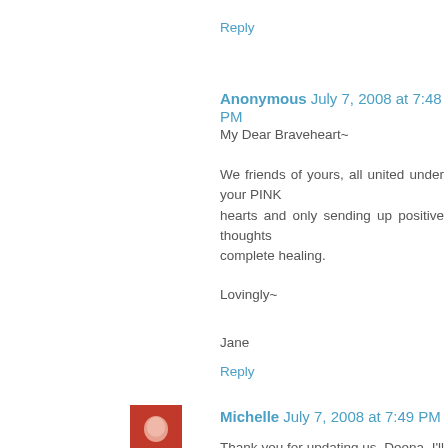Reply
Anonymous  July 7, 2008 at 7:48 PM
My Dear Braveheart~

We friends of yours, all united under your PINK hearts and only sending up positive thoughts complete healing.

Lovingly~

Jane
Reply
Michelle  July 7, 2008 at 7:49 PM
Thank you for updating us, Deena. I'll definitely b